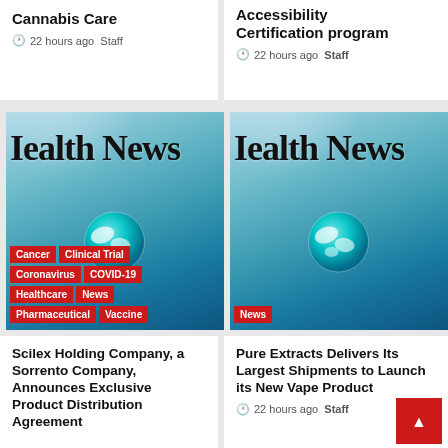Cannabis Care
22 hours ago  Staff
Accessibility Certification program
22 hours ago  Staff
[Figure (photo): Health News banner image showing stethoscope and glowing globe held in gloved hands, with tags: Cancer, Clinical Trial, Coronavirus, COVID-19, Healthcare, News, Pharmaceutical, Vaccine]
[Figure (photo): Health News banner image showing stethoscope and glowing globe held in gloved hands, with tag: News]
Scilex Holding Company, a Sorrento Company, Announces Exclusive Product Distribution Agreement
Pure Extracts Delivers Its Largest Shipments to Launch its New Vape Product
22 hours ago  Staff